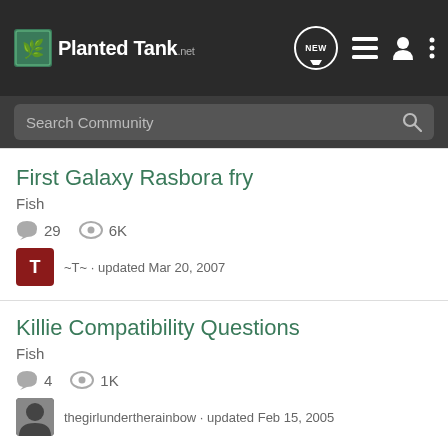PlantedTank
Search Community
First Galaxy Rasbora fry
Fish
29 replies · 6K views
~T~ · updated Mar 20, 2007
Killie Compatibility Questions
Fish
4 replies · 1K views
thegirlundertherainbow · updated Feb 15, 2005
So I woke up to fish in my bed... (help with pleco ID